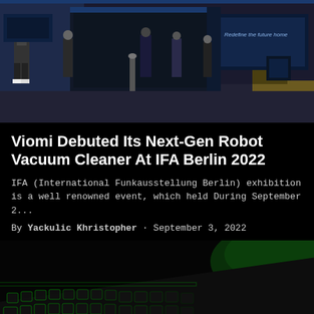[Figure (photo): Exhibition hall photo from IFA Berlin 2022 showing people walking through a dark-themed technology exhibition with blue and dark booth displays, screens, and products on display. Text 'Redefine the future home' visible on a screen.]
Viomi Debuted Its Next-Gen Robot Vacuum Cleaner At IFA Berlin 2022
IFA (International Funkausstellung Berlin) exhibition is a well renowned event, which held During September 2...
By Yackulic Khristopher · September 3, 2022
[Figure (photo): Close-up photo of a gaming keyboard with green RGB backlighting on a dark background with green lighting reflections.]